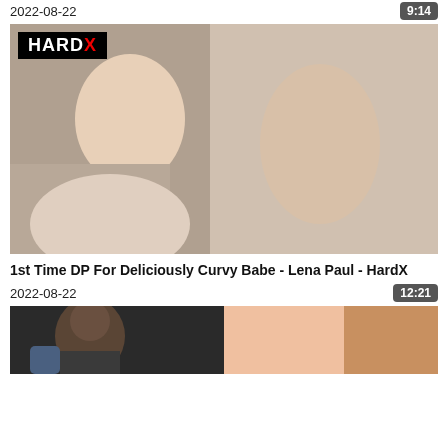2022-08-22
9:14
[Figure (photo): Thumbnail image with HardX logo overlay showing adult content]
1st Time DP For Deliciously Curvy Babe - Lena Paul - HardX
2022-08-22
12:21
[Figure (photo): Partial thumbnail of next video showing two people]